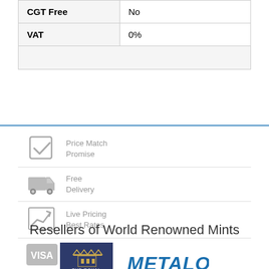| CGT Free | No |
| VAT | 0% |
|  |  |
[Figure (infographic): Four feature icons with labels: Price Match Promise (checkmark icon), Free Delivery (truck icon), Live Pricing Best Rates (chart icon), Buy Securely Online (VISA icon)]
Resellers of World Renowned Mints
[Figure (logo): The Royal Mint logo (dark blue background with crown emblem)]
[Figure (logo): Metalor logo in blue italic bold text]